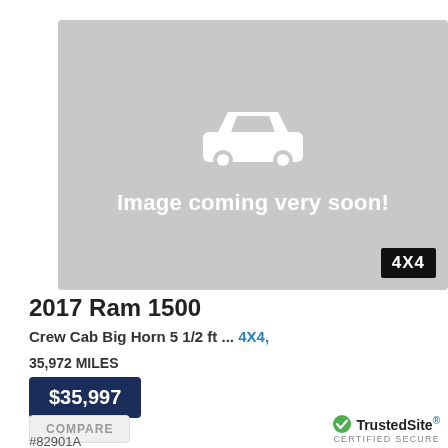[Figure (illustration): Gray placeholder image with a white car icon and text 'Image coming very soon!' with a 4X4 badge in the bottom right corner.]
2017 Ram 1500
Crew Cab Big Horn 5 1/2 ft ... 4X4,
35,972 MILES
$35,997
COMPARE
#82901A
[Figure (logo): TrustedSite CERTIFIED SECURE badge with green checkmark]